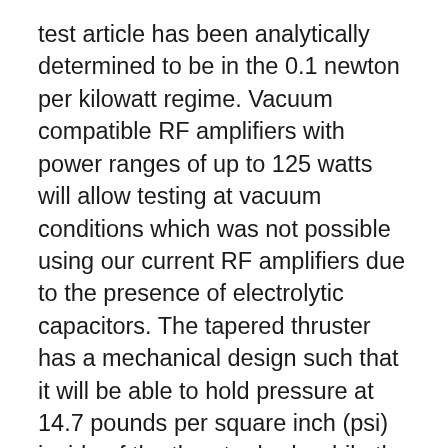test article has been analytically determined to be in the 0.1 newton per kilowatt regime. Vacuum compatible RF amplifiers with power ranges of up to 125 watts will allow testing at vacuum conditions which was not possible using our current RF amplifiers due to the presence of electrolytic capacitors. The tapered thruster has a mechanical design such that it will be able to hold pressure at 14.7 pounds per square inch (psi) inside of the thruster body while the thruster is tested at vacuum to preclude glow discharge within the thruster body while it is being operated at high power. A phase lock loop (PLL) solution has already been implemented and evaluated at the 1 GHz frequency range, and is being tailored to be able to support testing at multiple set points all the way up to 2.5